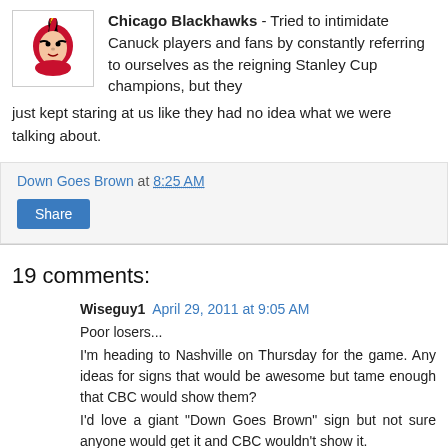[Figure (logo): Chicago Blackhawks logo — Native American head in red and black]
Chicago Blackhawks - Tried to intimidate Canuck players and fans by constantly referring to ourselves as the reigning Stanley Cup champions, but they just kept staring at us like they had no idea what we were talking about.
Down Goes Brown at 8:25 AM
Share
19 comments:
Wiseguy1  April 29, 2011 at 9:05 AM
Poor losers...
I'm heading to Nashville on Thursday for the game. Any ideas for signs that would be awesome but tame enough that CBC would show them?
I'd love a giant "Down Goes Brown" sign but not sure anyone would get it and CBC wouldn't show it.
Another option: "Sundin is ours... you can keep Raycroft"